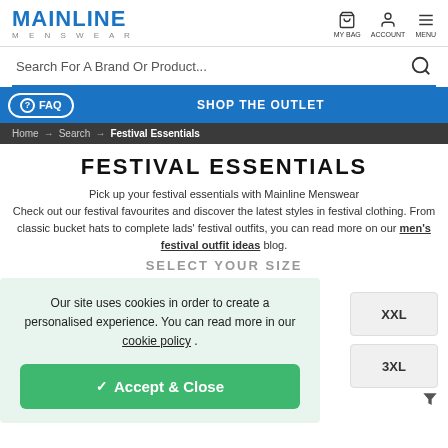MAINLINE MENSWEAR — MY BAG  ACCOUNT  MENU
Search For A Brand Or Product...
? FAQ   SHOP THE OUTLET
Home → Search → Festival Essentials
FESTIVAL ESSENTIALS
Pick up your festival essentials with Mainline Menswear Check out our festival favourites and discover the latest styles in festival clothing. From classic bucket hats to complete lads' festival outfits, you can read more on our men's festival outfit ideas blog.
SELECT YOUR SIZE
Our site uses cookies in order to create a personalised experience. You can read more in our cookie policy .
✓ Accept & Close